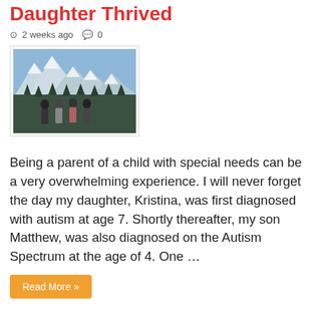Daughter Thrived
2 weeks ago  0
[Figure (photo): Family group of four people standing outdoors in a snowy mountain setting]
Being a parent of a child with special needs can be a very overwhelming experience. I will never forget the day my daughter, Kristina, was first diagnosed with autism at age 7. Shortly thereafter, my son Matthew, was also diagnosed on the Autism Spectrum at the age of 4. One …
Read More »
How to Care for Kids' Teeth During Times of Indulgence